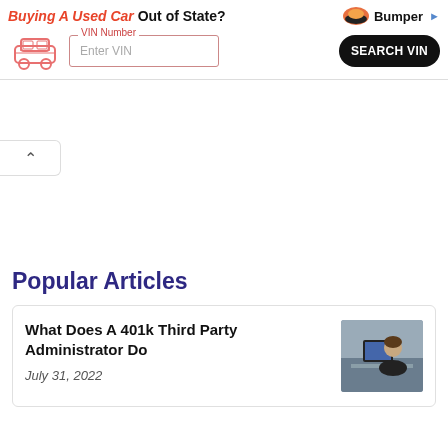[Figure (screenshot): Advertisement banner for Bumper VIN lookup service. Headline: 'Buying A Used Car Out of State?' with a car illustration, VIN Number input field, SEARCH VIN button, and Bumper logo.]
[Figure (other): Collapse/chevron up button on left side]
Popular Articles
What Does A 401k Third Party Administrator Do
July 31, 2022
[Figure (photo): Photo of a woman at a desk with a laptop, in an office setting.]